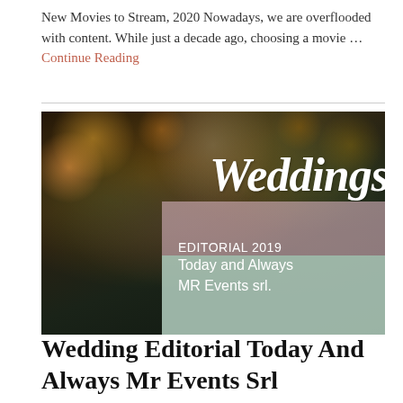New Movies to Stream, 2020 Nowadays, we are overflooded with content. While just a decade ago, choosing a movie ... Continue Reading
[Figure (photo): Dark moody floral photo of a person holding/wearing a botanical arrangement with dried grasses and flowers. Text overlay reads 'Weddings' in large white serif font and a pink/green semi-transparent box with 'EDITORIAL 2019 Today and Always MR Events srl.']
Wedding Editorial Today And Always Mr Events Srl